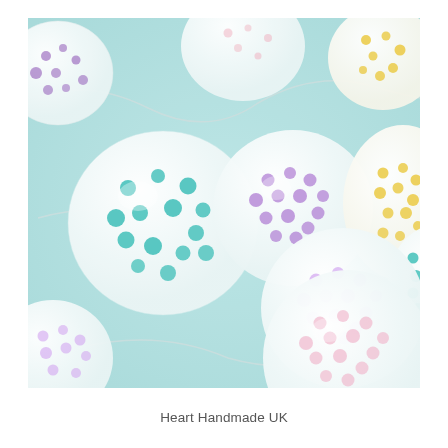[Figure (photo): A string of decorative ball lights with colorful polka dots (teal, purple, yellow, pink) on white balls, arranged on a light blue/mint fabric background. The lights are connected by a clear wire.]
Heart Handmade UK